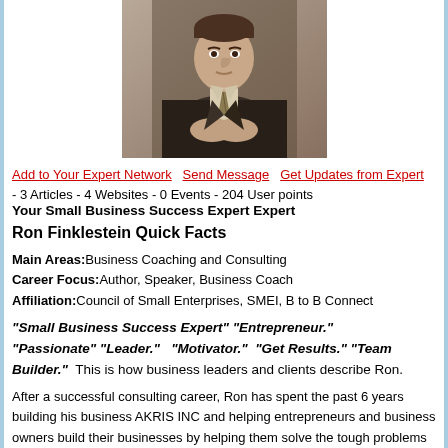[Figure (photo): Professional headshot of Ron Finklestein, a man in a dark business suit with a patterned tie, seated with hands clasped]
Add to Your Expert Network   Send Message   Get Updates from Expert
- 3 Articles - 4 Websites - 0 Events - 204 User points
Your Small Business Success Expert Expert
Ron Finklestein Quick Facts
Main Areas: Business Coaching and Consulting
Career Focus: Author, Speaker, Business Coach
Affiliation: Council of Small Enterprises, SMEI, B to B Connect
“Small Business Success Expert” “Entrepreneur.” “Passionate” “Leader.” “Motivator.” “Get Results.” “Team Builder.”  This is how business leaders and clients describe Ron.
After a successful consulting career, Ron has spent the past 6 years building his business AKRIS INC and helping entrepreneurs and business owners build their businesses by helping them solve the tough problems that hold them back.  Ron is called “Your Small